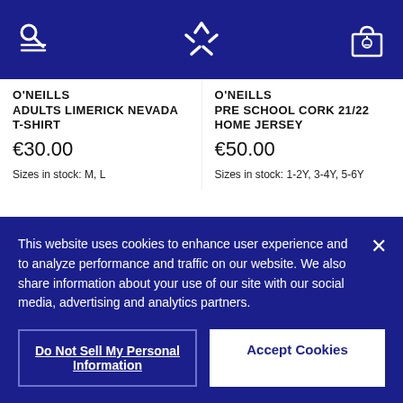[Figure (screenshot): Navigation bar with search/menu icon, O'Neills logo, and shopping bag icon on dark blue background]
O'NEILLS
ADULTS LIMERICK NEVADA T-SHIRT
€30.00
Sizes in stock: M, L
O'NEILLS
PRE SCHOOL CORK 21/22 HOME JERSEY
€50.00
Sizes in stock: 1-2Y, 3-4Y, 5-6Y
[Figure (photo): Product image placeholder (light grey box, left column)]
[Figure (photo): Product image placeholder (light grey box, right column)]
This website uses cookies to enhance user experience and to analyze performance and traffic on our website. We also share information about your use of our site with our social media, advertising and analytics partners.
Do Not Sell My Personal Information
Accept Cookies